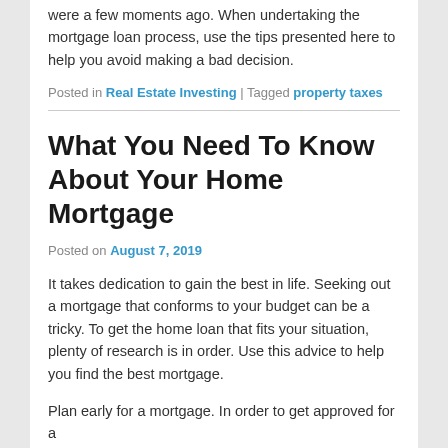were a few moments ago. When undertaking the mortgage loan process, use the tips presented here to help you avoid making a bad decision.
Posted in Real Estate Investing | Tagged property taxes
What You Need To Know About Your Home Mortgage
Posted on August 7, 2019
It takes dedication to gain the best in life. Seeking out a mortgage that conforms to your budget can be a tricky. To get the home loan that fits your situation, plenty of research is in order. Use this advice to help you find the best mortgage.
Plan early for a mortgage. In order to get approved for a